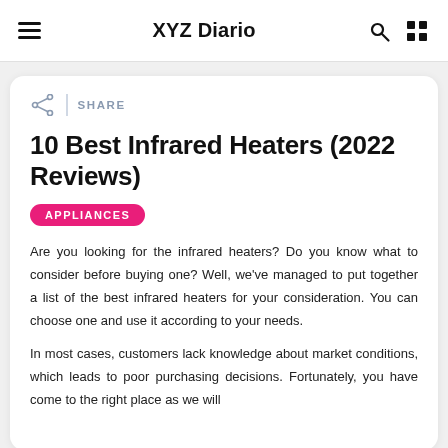XYZ Diario
SHARE
10 Best Infrared Heaters (2022 Reviews)
APPLIANCES
Are you looking for the infrared heaters? Do you know what to consider before buying one? Well, we've managed to put together a list of the best infrared heaters for your consideration. You can choose one and use it according to your needs.
In most cases, customers lack knowledge about market conditions, which leads to poor purchasing decisions. Fortunately, you have come to the right place as we will